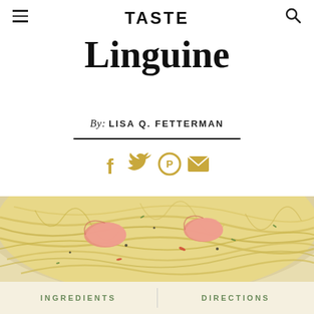TASTE
Linguine
By: LISA Q. FETTERMAN
[Figure (photo): Close-up photo of a plate of linguine pasta with shrimp, garnished with herbs]
INGREDIENTS
DIRECTIONS